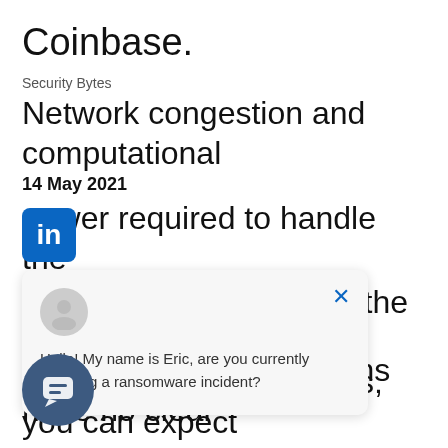Coinbase.
Security Bytes
Network congestion and computational power required to handle the transaction determine the amount of gas paid by users. Thus, you can expect network is busy ower r.
14 May 2021
[Figure (screenshot): LinkedIn icon (blue square with 'in' logo) overlaying the article text]
[Figure (screenshot): Chat popup overlay with user avatar, close button (x), and text: Hello! My name is Eric, are you currently suffering a ransomware incident?]
[Figure (screenshot): Dark teal circular chat button at bottom left]
mary
Since non-fungible tokens have no clear